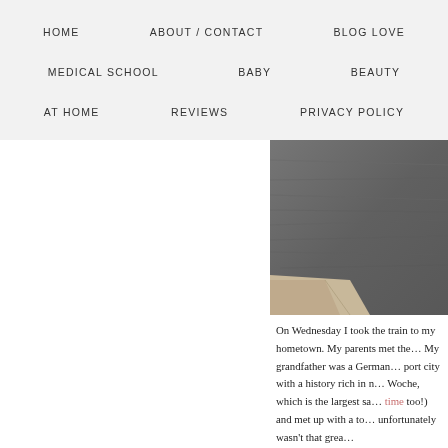HOME   ABOUT / CONTACT   BLOG LOVE   MEDICAL SCHOOL   BABY   BEAUTY   AT HOME   REVIEWS   PRIVACY POLICY
[Figure (photo): Aerial or elevated view of water (dark rippled surface) with a stone or concrete ledge/dock visible in the lower left corner.]
On Wednesday I took the train to my hometown. My parents met the… My grandfather was a German… port city with a history rich in n… Woche, which is the largest sa… time too!) and met up with a to… unfortunately wasn't that grea…